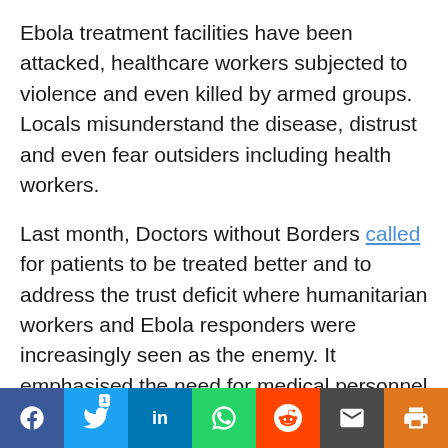Ebola treatment facilities have been attacked, healthcare workers subjected to violence and even killed by armed groups. Locals misunderstand the disease, distrust and even fear outsiders including health workers.
Last month, Doctors without Borders called for patients to be treated better and to address the trust deficit where humanitarian workers and Ebola responders were increasingly seen as the enemy. It emphasised the need for medical personnel to treat Ebola patients “as humans and not biothreats.”
Social share bar: Facebook, Twitter (1), LinkedIn, WhatsApp, Reddit, Email, Print